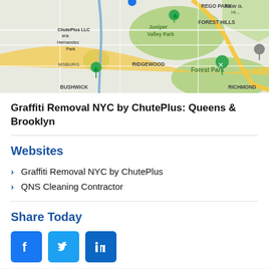[Figure (map): Google Maps view showing Queens and Brooklyn area of NYC, with landmarks including Juniper Valley Park, Forest Park, Ridgewood, Bushwick, Rego Park, Forest Hills, Kew Gardens Hills, and a ChutePlus LLC marker pin.]
Graffiti Removal NYC by ChutePlus: Queens & Brooklyn
Websites
Graffiti Removal NYC by ChutePlus
QNS Cleaning Contractor
Share Today